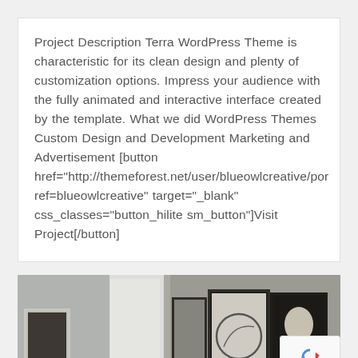Project Description Terra WordPress Theme is characteristic for its clean design and plenty of customization options. Impress your audience with the fully animated and interactive interface created by the template. What we did WordPress Themes Custom Design and Development Marketing and Advertisement [button href="http://themeforest.net/user/blueowlcreative/por ref=blueowlcreative" target="_blank" css_classes="button_hilite sm_button"]Visit Project[/button]
[Figure (photo): Interior room photo showing framed artwork on a wall and a white door/panel. Multiple framed pictures including abstract art and a portrait are visible against a grey textured wall. A reCAPTCHA badge is overlaid in the bottom right corner.]